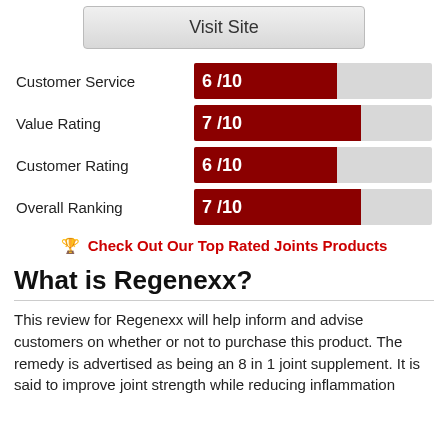Visit Site
[Figure (bar-chart): Ratings]
🏆 Check Out Our Top Rated Joints Products
What is Regenexx?
This review for Regenexx will help inform and advise customers on whether or not to purchase this product. The remedy is advertised as being an 8 in 1 joint supplement. It is said to improve joint strength while reducing inflammation